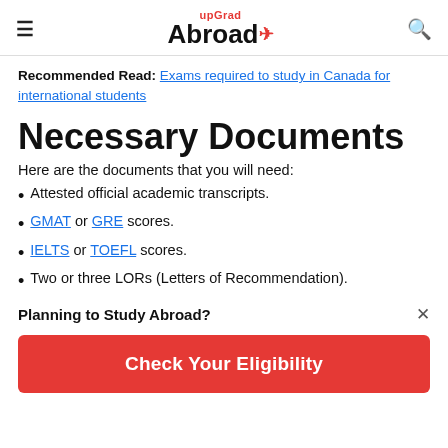upGrad Abroad
Recommended Read: Exams required to study in Canada for international students
Necessary Documents
Here are the documents that you will need:
Attested official academic transcripts.
GMAT or GRE scores.
IELTS or TOEFL scores.
Two or three LORs (Letters of Recommendation).
Planning to Study Abroad?
Check Your Eligibility